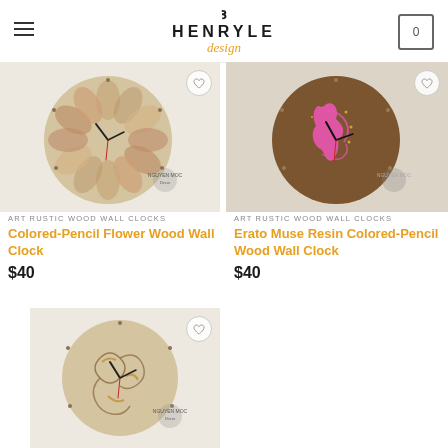HENRYLE design
[Figure (photo): Colored-Pencil Flower Wood Wall Clock - round wooden clock with colorful pencil flower design]
ART RUSTIC WOOD WALL CLOCKS
Colored-Pencil Flower Wood Wall Clock
$40
[Figure (photo): Erato Muse Resin Colored-Pencil Wood Wall Clock - dark wooden clock with pink face silhouette design]
ART RUSTIC WOOD WALL CLOCKS
Erato Muse Resin Colored-Pencil Wood Wall Clock
$40
[Figure (photo): Third wooden wall clock with decorative engraved design, round light wood]